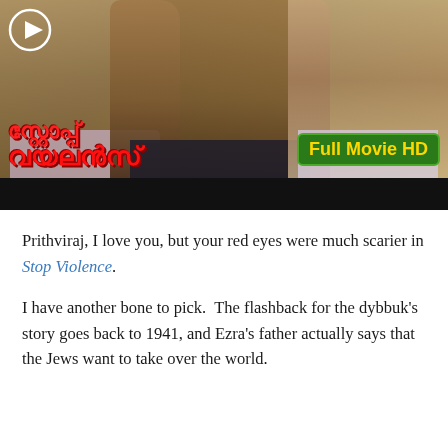[Figure (screenshot): Movie thumbnail for 'Stop Violence' (Malayalam film) showing three actors — a man on the left in pink shirt, a man in center with beard and dark shirt, and a woman on the right — with Malayalam title text in red and a 'Full Movie HD' badge in yellow on green background. A play button icon is visible in the top-left corner. A black bar appears at the bottom of the thumbnail.]
Prithviraj, I love you, but your red eyes were much scarier in Stop Violence.
I have another bone to pick.  The flashback for the dybbuk's story goes back to 1941, and Ezra's father actually says that the Jews want to take over the world.